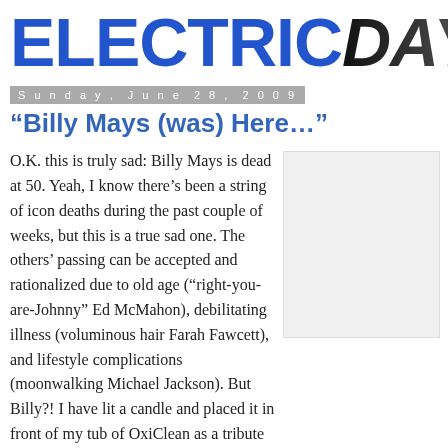ELECTRICDAYBOOK
Sunday, June 28, 2009
“Billy Mays (was) Here…”
[Figure (photo): Blank/white placeholder image in sidebar]
O.K. this is truly sad: Billy Mays is dead at 50. Yeah, I know there’s been a string of icon deaths during the past couple of weeks, but this is a true sad one. The others’ passing can be accepted and rationalized due to old age (“right-you-are-Johnny” Ed McMahon), debilitating illness (voluminous hair Farah Fawcett), and lifestyle complications (moonwalking Michael Jackson). But Billy?! I have lit a candle and placed it in front of my tub of OxiClean as a tribute to one of the last